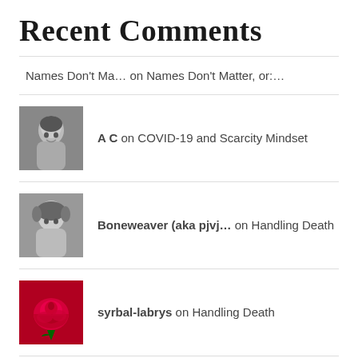Recent Comments
Names Don't Ma… on Names Don't Matter, or:…
A C on COVID-19 and Scarcity Mindset
Boneweaver (aka pjvj… on Handling Death
syrbal-labrys on Handling Death
Just another WordPre… on SJWW (Social Justice Warrior W…
Help keep the Work moving outward.